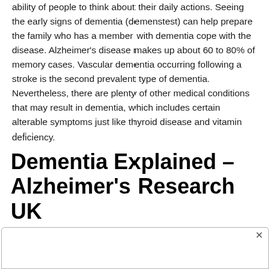ability of people to think about their daily actions. Seeing the early signs of dementia (demenstest) can help prepare the family who has a member with dementia cope with the disease. Alzheimer's disease makes up about 60 to 80% of memory cases. Vascular dementia occurring following a stroke is the second prevalent type of dementia. Nevertheless, there are plenty of other medical conditions that may result in dementia, which includes certain alterable symptoms just like thyroid disease and vitamin deficiency.
Dementia Explained – Alzheimer's Research UK
[Figure (other): Advertisement box with close button (X) in top right corner]